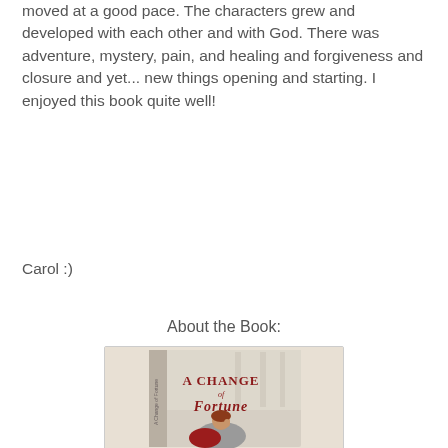moved at a good pace. The characters grew and developed with each other and with God. There was adventure, mystery, pain, and healing and forgiveness and closure and yet... new things opening and starting. I enjoyed this book quite well!
Carol :)
About the Book:
[Figure (photo): Book cover of 'A Change of Fortune' showing a woman with red hair sitting pensively, wearing a grey outfit, with red fabric and classical architecture in the background. The title is displayed in large red letters.]